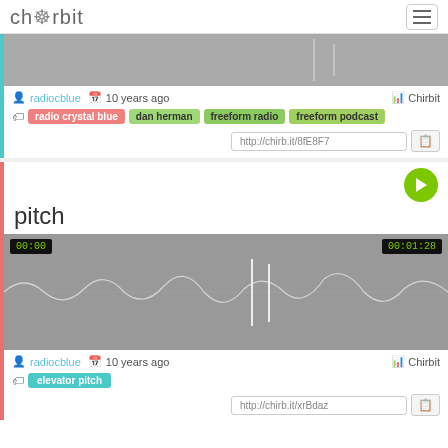chirbit
[Figure (screenshot): Waveform audio player top portion (gray waveform)]
radiocblue  10 years ago  Chirbit
radio crystal blue  dan herman  freeform radio  freeform podcast
http://chirb.it/8fE8F7
pitch
[Figure (screenshot): Waveform audio player showing 00:00 to 00:01:28 with gray waveform visualization]
radiocblue  10 years ago  Chirbit
elevator pitch
http://chirb.it/xrBdaz